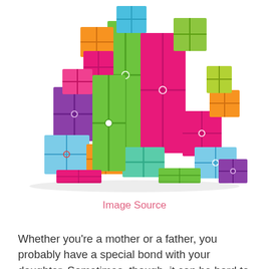[Figure (illustration): A colorful pile of gift boxes wrapped in bright colors including green, pink, blue, purple, and orange, with ribbons and bows, arranged in a pyramid shape on a white background.]
Image Source
Whether you’re a mother or a father, you probably have a special bond with your daughter. Sometimes, though, it can be hard to express how much you love her. Maybe she’s a teen, and you don’t want to be cheesy. Maybe she’s ten, enjoying her independence, and you don’t want to keep